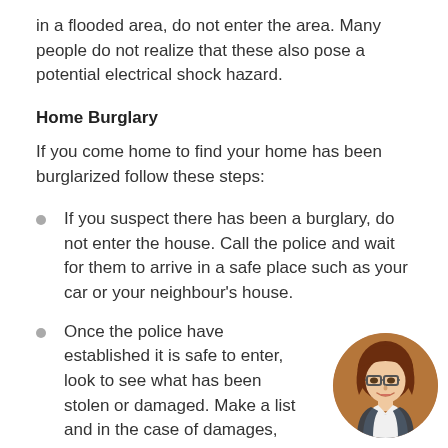in a flooded area, do not enter the area. Many people do not realize that these also pose a potential electrical shock hazard.
Home Burglary
If you come home to find your home has been burglarized follow these steps:
If you suspect there has been a burglary, do not enter the house. Call the police and wait for them to arrive in a safe place such as your car or your neighbour's house.
Once the police have established it is safe to enter, look to see what has been stolen or damaged. Make a list and in the case of damages, take pictures.
Get a copy of the police report
[Figure (illustration): Circular avatar illustration of a woman with dark reddish-brown hair, glasses, and a white and dark jacket]